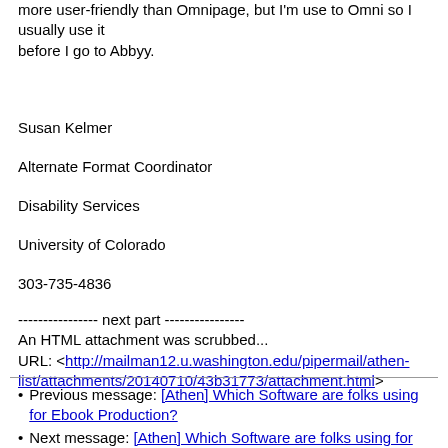more user-friendly than Omnipage, but I'm use to Omni so I usually use it
before I go to Abbyy.
Susan Kelmer
Alternate Format Coordinator
Disability Services
University of Colorado
303-735-4836
---------------- next part ---------------
An HTML attachment was scrubbed...
URL: <http://mailman12.u.washington.edu/pipermail/athen-list/attachments/20140710/43b31773/attachment.html>
Previous message: [Athen] Which Software are folks using for Ebook Production?
Next message: [Athen] Which Software are folks using for Ebook Production?